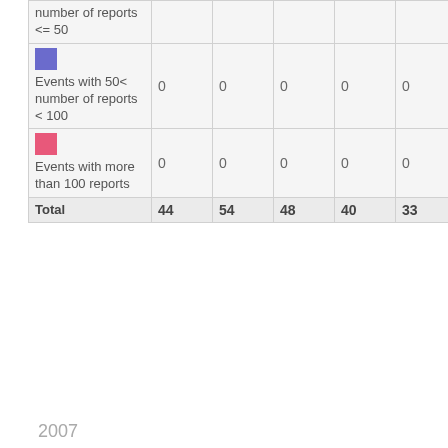|  | col1 | col2 | col3 | col4 | col5 | col6 | col7 |
| --- | --- | --- | --- | --- | --- | --- | --- |
| number of reports <= 50 |  |  |  |  |  |  |  |
| Events with 50< number of reports < 100 | 0 | 0 | 0 | 0 | 0 | 0 | 0 |
| Events with more than 100 reports | 0 | 0 | 0 | 0 | 0 | 0 | 0 |
| Total | 44 | 54 | 48 | 40 | 33 | 52 | 42 |
2007